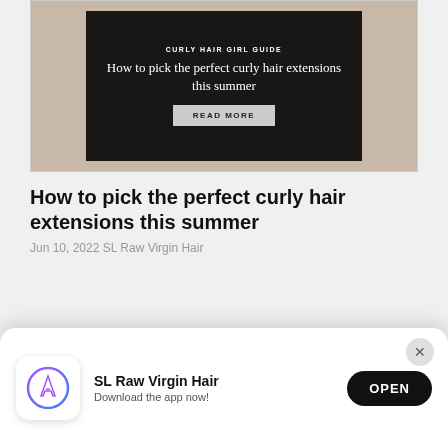[Figure (screenshot): Article card with a photo background of a woman with curly hair, overlaid by a black box containing the text 'CURLY HAIR GIRL GUIDE', the title 'How to pick the perfect curly hair extensions this summer', and a gray 'READ MORE' button.]
How to pick the perfect curly hair extensions this summer
Jun 10, 2022 SL Raw Virgin Hair
[Figure (screenshot): Partially visible bottom article card.]
[Figure (screenshot): App download banner with App Store icon, 'SL Raw Virgin Hair' app name, 'Download the app now!' subtitle, and an 'OPEN' button. Close (X) button in top right corner.]